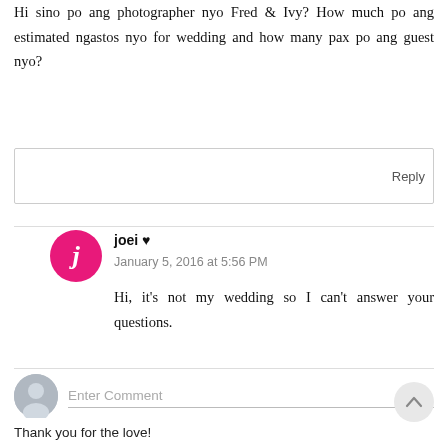Hi sino po ang photographer nyo Fred & Ivy? How much po ang estimated ngastos nyo for wedding and how many pax po ang guest nyo?
Reply
joei ♥
January 5, 2016 at 5:56 PM
Hi, it's not my wedding so I can't answer your questions.
Enter Comment
Thank you for the love!